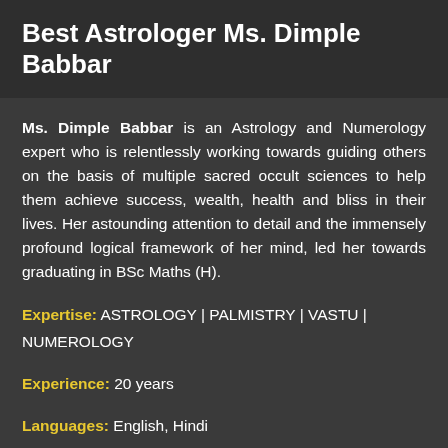Best Astrologer Ms. Dimple Babbar
Ms. Dimple Babbar is an Astrology and Numerology expert who is relentlessly working towards guiding others on the basis of multiple sacred occult sciences to help them achieve success, wealth, health and bliss in their lives. Her astounding attention to detail and the immensely profound logical framework of her mind, led her towards graduating in BSc Maths (H).
Expertise: ASTROLOGY | PALMISTRY | VASTU | NUMEROLOGY
Experience: 20 years
Languages: English, Hindi